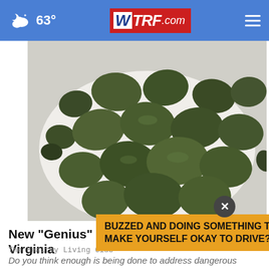63° WTRF.com
[Figure (photo): A pile of dark green spiral algae / supplement tablets on a white plate, viewed from above]
New "Genius" Pill Now 100% Legal in Virginia
The Healthy Living Club
[Figure (other): Yellow advertisement banner reading: BUZZED AND DOING SOMETHING TO MAKE YOURSELF OKAY TO DRIVE?]
Do you think enough is being done to address dangerous